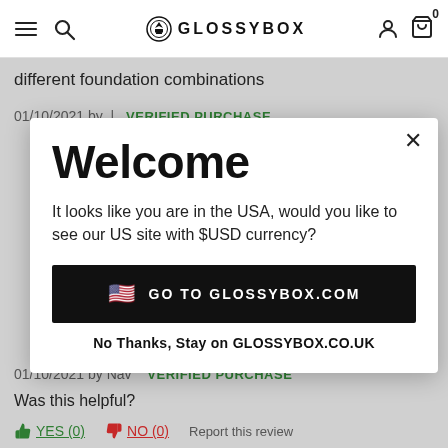GLOSSYBOX navigation bar with hamburger menu, search, logo, account and cart icons
different foundation combinations
01/10/2021 by | VERIFIED PURCHASE
Welcome
It looks like you are in the USA, would you like to see our US site with $USD currency?
GO TO GLOSSYBOX.COM
No Thanks, Stay on GLOSSYBOX.CO.UK
01/10/2021 by Nav  VERIFIED PURCHASE
Was this helpful?
YES (0)   NO (0)   Report this review